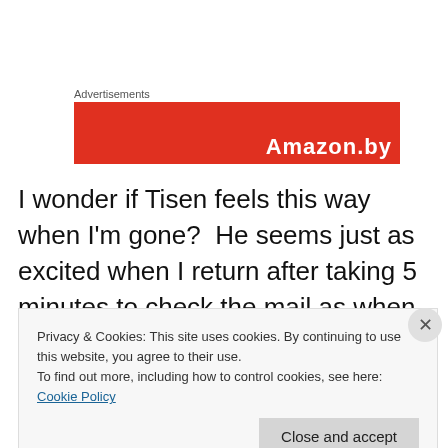Advertisements
[Figure (other): Red advertisement banner with white text 'Amazon.by' partially visible]
I wonder if Tisen feels this way when I'm gone?  He seems just as excited when I return after taking 5 minutes to check the mail as when I've been gone for over an hour.  But when I'm gone for days, he goes absolutely nuts.  It's like he'd given up hope and my sudden reappearance throws him into an uncontrolled frenzy.
Privacy & Cookies: This site uses cookies. By continuing to use this website, you agree to their use.
To find out more, including how to control cookies, see here: Cookie Policy
Close and accept